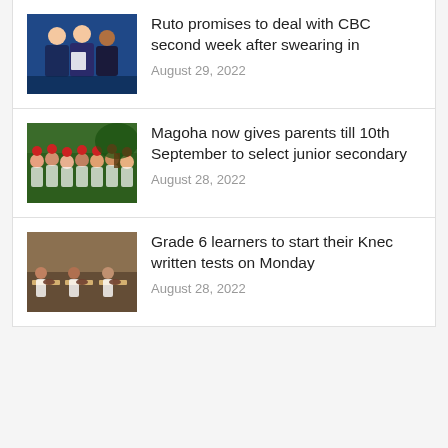Ruto promises to deal with CBC second week after swearing in
Magoha now gives parents till 10th September to select junior secondary
Grade 6 learners to start their Knec written tests on Monday